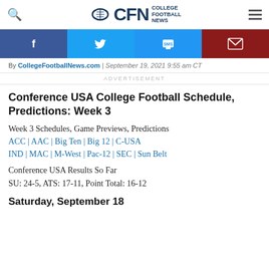CFN College Football News
[Figure (infographic): Social sharing buttons: Facebook (blue), Twitter (light blue), SMS (blue), Email (dark red)]
By CollegeFootballNews.com | September 19, 2021 9:55 am CT
ADVERTISEMENT
Conference USA College Football Schedule, Predictions: Week 3
Week 3 Schedules, Game Previews, Predictions
ACC | AAC | Big Ten | Big 12 | C-USA IND | MAC | M-West | Pac-12 | SEC | Sun Belt
Conference USA Results So Far
SU: 24-5, ATS: 17-11, Point Total: 16-12
Saturday, September 18